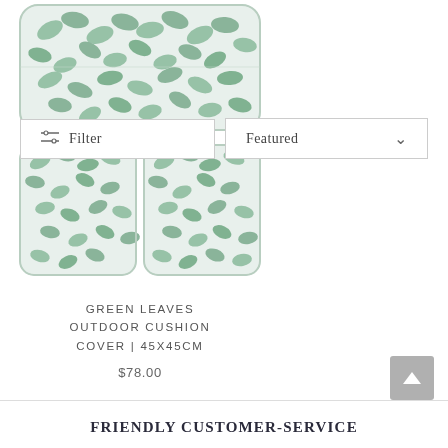[Figure (photo): Green leaves pattern outdoor cushion cover product photo showing two rectangular cushions stacked, with a botanical leaf print in sage green and white]
Filter | Featured
GREEN LEAVES OUTDOOR CUSHION COVER | 45X45CM
$78.00
FRIENDLY CUSTOMER-SERVICE